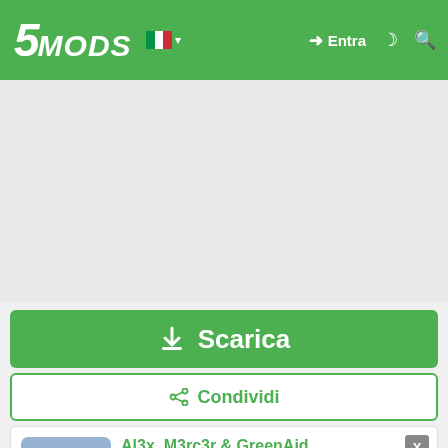5MODS — Entra (header navigation with logo, flag, login, and search icons)
[Figure (other): Gray advertisement placeholder area]
⬇ Scarica
⬡ Condividi
Al3x_M3rc3r & GreenAid
[Figure (illustration): Character avatar: stylized GTA-style man with glasses holding a gun, blue-gray background]
YouTube 8
Fai una donazione con PayPal